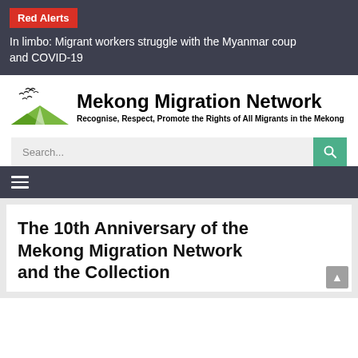Red Alerts
In limbo: Migrant workers struggle with the Myanmar coup and COVID-19
[Figure (logo): Mekong Migration Network logo with birds flying over green hills]
Mekong Migration Network
Recognise, Respect, Promote the Rights of All Migrants in the Mekong
Search...
The 10th Anniversary of the Mekong Migration Network and the Collection